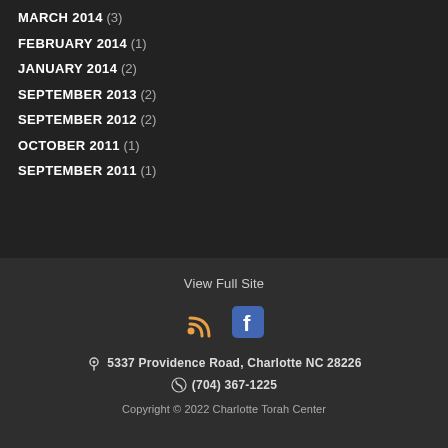MARCH 2014 (3)
FEBRUARY 2014 (1)
JANUARY 2014 (2)
SEPTEMBER 2013 (2)
SEPTEMBER 2012 (2)
OCTOBER 2011 (1)
SEPTEMBER 2011 (1)
View Full Site
[Figure (infographic): RSS feed icon and Facebook icon]
5337 Providence Road, Charlotte NC 28226
(704) 367-1225
Copyright © 2022 Charlotte Torah Center